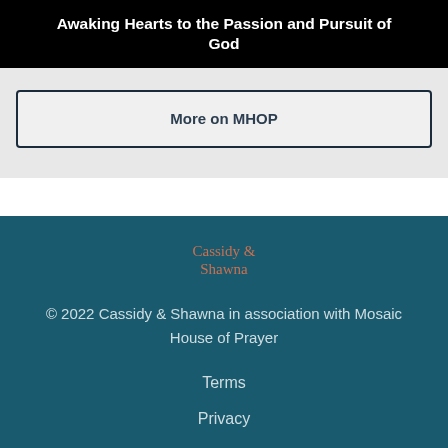Awaking Hearts to the Passion and Pursuit of God
More on MHOP
[Figure (logo): Cassidy & Shawna script logo in salmon/coral color on teal background]
© 2022 Cassidy & Shawna in association with Mosaic House of Prayer
Terms
Privacy